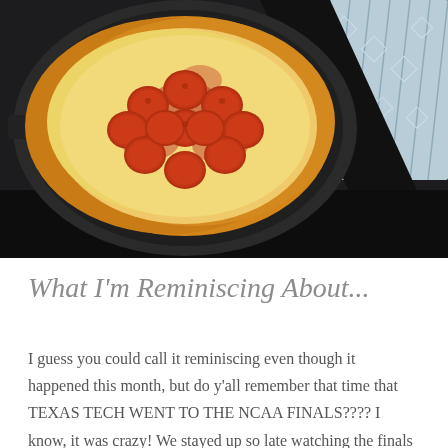[Figure (photo): A pepperoni pizza in a round cast iron skillet, photographed from above. The pizza has melted cheese and multiple pepperoni slices arranged on top. The skillet is sitting on a black stove surface with a blue and white patterned rug or fabric visible in the background.]
What I'm Reminiscing About...
I guess you could call it reminiscing even though it happened this month, but do y'all remember that time that TEXAS TECH WENT TO THE NCAA FINALS???? I know, it was crazy! We stayed up so late watching the finals game only to be heartbroken